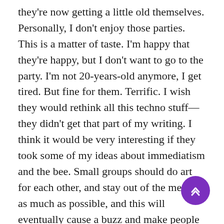they're now getting a little old themselves. Personally, I don't enjoy those parties. This is a matter of taste. I'm happy that they're happy, but I don't want to go to the party. I'm not 20-years-old anymore, I get tired. But fine for them. Terrific. I wish they would rethink all this techno stuff—they didn't get that part of my writing. I think it would be very interesting if they took some of my ideas about immediatism and the bee. Small groups should do art for each other, and stay out of the media as much as possible, and this will eventually cause a buzz and make people want to be part of it. I'm waiting—maybe before I die there will be a hip Luddite movement. I'll probably like their parties and go to them. But it's not happening. Most of the people interested in TAZ tend to be very techno-oriented. But as I say, if they're having a good time, God bless them. Allah bless them. Goddess bless them. Just bless them. I think that's terrific. It's important to have those TAZ experiences. If you didn't, you wouldn't know what there is to struggle for.